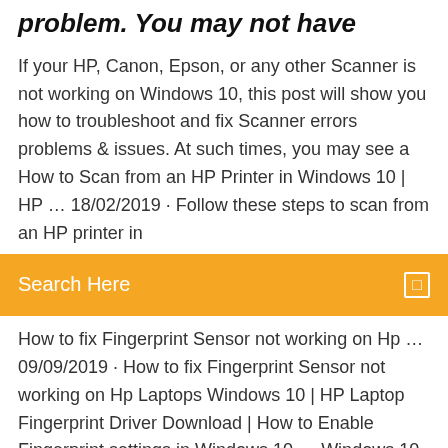problem. You may not have
If your HP, Canon, Epson, or any other Scanner is not working on Windows 10, this post will show you how to troubleshoot and fix Scanner errors problems & issues. At such times, you may see a How to Scan from an HP Printer in Windows 10 | HP … 18/02/2019 · Follow these steps to scan from an HP printer in
[Figure (other): Search bar with orange background and search icon]
How to fix Fingerprint Sensor not working on Hp … 09/09/2019 · How to fix Fingerprint Sensor not working on Hp Laptops Windows 10 | HP Laptop Fingerprint Driver Download | How to Enable Fingerprint settings in Windows 10 … Windows 10 scan to shared folder not working - … 25/02/2019 · Background: Brand new laptop running Windows 10 Pro (version1709) and joined to the domain. Dropbox is installed and a subfolder within Dropbox is created and shared (share perm Home. Home > Windows > Windows 10. Windows 10 scan to shared folder not working. by Little Miss Fix IT. on Nov 24, 2017 at 03:27 UTC. Needs Answer